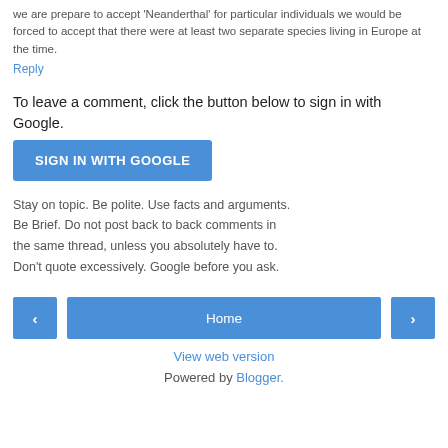we are prepare to accept 'Neanderthal' for particular individuals we would be forced to accept that there were at least two separate species living in Europe at the time.
Reply
To leave a comment, click the button below to sign in with Google.
[Figure (other): Blue 'SIGN IN WITH GOOGLE' button]
Stay on topic. Be polite. Use facts and arguments. Be Brief. Do not post back to back comments in the same thread, unless you absolutely have to. Don't quote excessively. Google before you ask.
[Figure (other): Navigation row with left arrow button, Home button, and right arrow button]
View web version
Powered by Blogger.